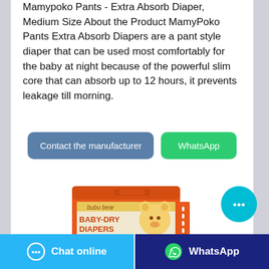Mamypoko Pants - Extra Absorb Diaper, Medium Size About the Product MamyPoko Pants Extra Absorb Diapers are a pant style diaper that can be used most comfortably for the baby at night because of the powerful slim core that can absorb up to 12 hours, it prevents leakage till morning.
Contact the manufacturer
WhatsApp
[Figure (photo): Orange box of Bubu Bear Baby-Dry Diapers product packaging with cartoon bear illustration]
[Figure (other): Floating teal chat bubble button with three dots icon]
Chat online
WhatsApp